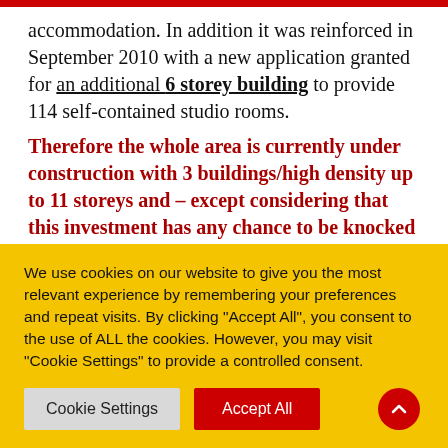accommodation. In addition it was reinforced in September 2010 with a new application granted for an additional 6 storey building to provide 114 self-contained studio rooms. Therefore the whole area is currently under construction with 3 buildings/high density up to 11 storeys and – except considering that this investment has any chance to be knocked down within the next 15 years – a full rewriting of the page in view of the
We use cookies on our website to give you the most relevant experience by remembering your preferences and repeat visits. By clicking "Accept All", you consent to the use of ALL the cookies. However, you may visit "Cookie Settings" to provide a controlled consent.